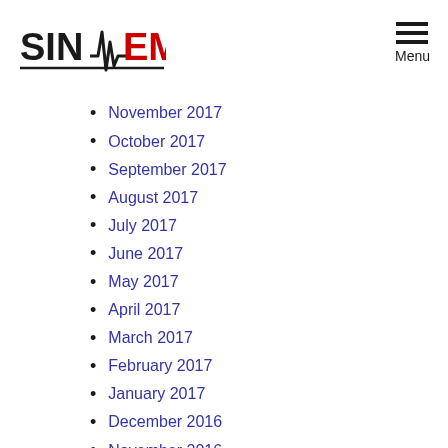[Figure (logo): SINAIEM logo with ECG waveform graphic and text]
November 2017
October 2017
September 2017
August 2017
July 2017
June 2017
May 2017
April 2017
March 2017
February 2017
January 2017
December 2016
November 2016
October 2016
September 2016
August 2016